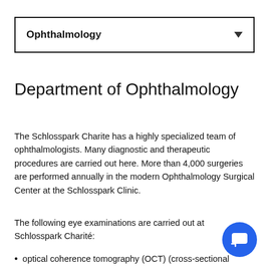Ophthalmology
Department of Ophthalmology
The Schlosspark Charite has a highly specialized team of ophthalmologists. Many diagnostic and therapeutic procedures are carried out here. More than 4,000 surgeries are performed annually in the modern Ophthalmology Surgical Center at the Schlosspark Clinic.
The following eye examinations are carried out at Schlosspark Charité:
optical coherence tomography (OCT) (cross-sectional